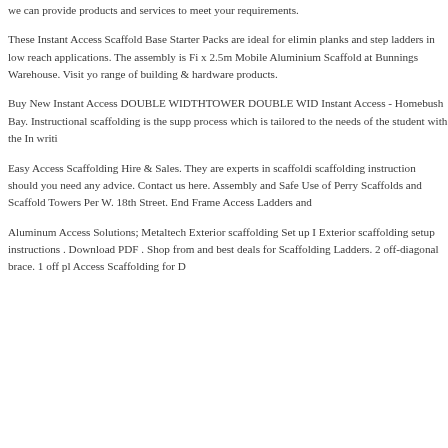we can provide products and services to meet your requirements.
These Instant Access Scaffold Base Starter Packs are ideal for elimin planks and step ladders in low reach applications. The assembly is Fi x 2.5m Mobile Aluminium Scaffold at Bunnings Warehouse. Visit yo range of building & hardware products.
Buy New Instant Access DOUBLE WIDTHTOWER DOUBLE WID Instant Access - Homebush Bay. Instructional scaffolding is the supp process which is tailored to the needs of the student with the In writi
Easy Access Scaffolding Hire & Sales. They are experts in scaffoldi scaffolding instruction should you need any advice. Contact us here. Assembly and Safe Use of Perry Scaffolds and Scaffold Towers Per W. 18th Street. End Frame Access Ladders and
Aluminum Access Solutions; Metaltech Exterior scaffolding Set up I Exterior scaffolding setup instructions . Download PDF . Shop from and best deals for Scaffolding Ladders. 2 off-diagonal brace. 1 off pl Access Scaffolding for D